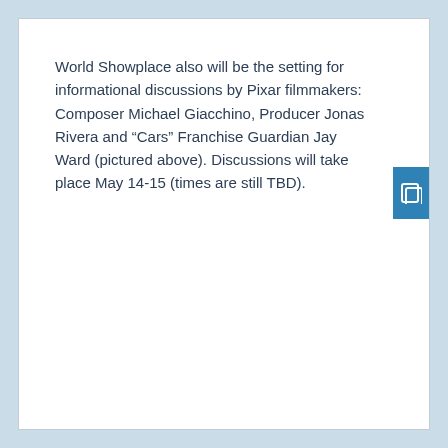World Showplace also will be the setting for informational discussions by Pixar filmmakers: Composer Michael Giacchino, Producer Jonas Rivera and “Cars” Franchise Guardian Jay Ward (pictured above). Discussions will take place May 14-15 (times are still TBD).